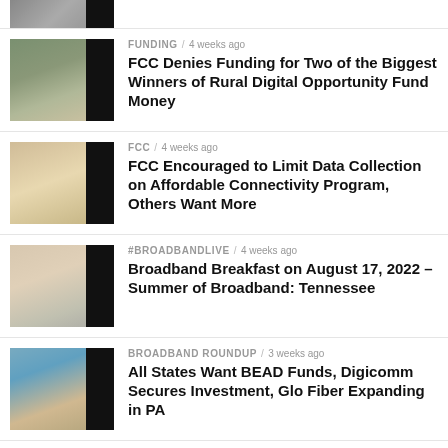[Figure (photo): Partial thumbnail of a person at top of page, cropped]
[Figure (photo): Thumbnail photo of a man with dark beard and jacket outdoors]
FUNDING / 4 weeks ago
FCC Denies Funding for Two of the Biggest Winners of Rural Digital Opportunity Fund Money
[Figure (photo): Thumbnail photo of a smiling man in sweater outdoors]
FCC / 4 weeks ago
FCC Encouraged to Limit Data Collection on Affordable Connectivity Program, Others Want More
[Figure (photo): Thumbnail photo of a woman and a man smiling]
#BROADBANDLIVE / 4 weeks ago
Broadband Breakfast on August 17, 2022 – Summer of Broadband: Tennessee
[Figure (photo): Thumbnail photo of two men at a table, teal background]
BROADBAND ROUNDUP / 3 weeks ago
All States Want BEAD Funds, Digicomm Secures Investment, Glo Fiber Expanding in PA
[Figure (photo): Thumbnail photo of a woman near American flag]
BROADBAND ROUNDUP / 4 weeks ago
Grid Broadband Bill, Ting Gets Financing, Finley Engineering Has New